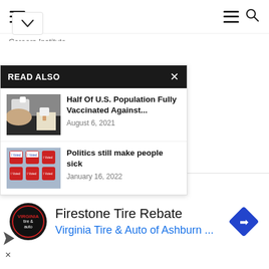≡  ≡ 🔍
Careers Institute
The lab of Kathy DelGiorno, assistant professor of cell and developmental biology, seeks to know adjustments within the illness. In a latest mission an, additionally from the al Biology, the lab eroendocrine cells—a group cell sorts that secrete l or mechanical stimuli—all rs in Physiology, the analyzes genetically
READ ALSO
[Figure (photo): Photo thumbnail showing a gloved hand administering a vaccine/bandage on an arm]
Half Of U.S. Population Fully Vaccinated Against...
August 6, 2021
[Figure (photo): Photo thumbnail showing I Voted stickers scattered on a surface]
Politics still make people sick
January 16, 2022
Firestone Tire Rebate
Virginia Tire & Auto of Ashburn ...